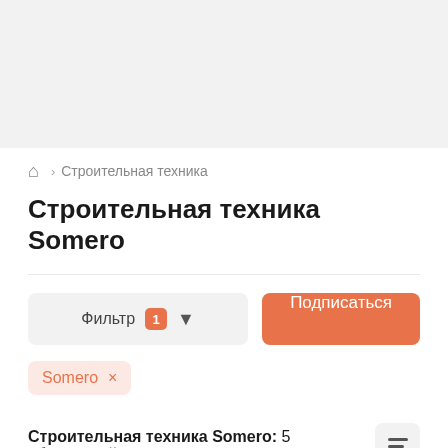🏠 > Строительная техника
Строительная техника Somero
Фильтр 1 ▼  Подписаться
Somero ×
Строительная техника Somero: 5 объявлений